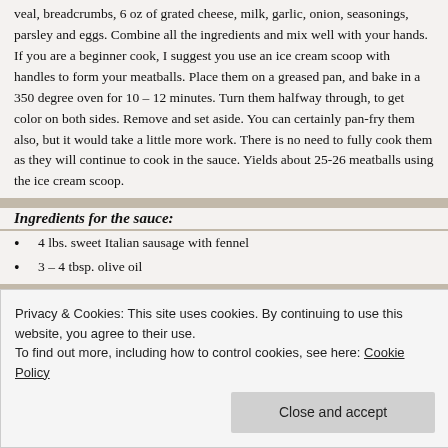veal, breadcrumbs, 6 oz of grated cheese, milk, garlic, onion, seasonings, parsley and eggs. Combine all the ingredients and mix well with your hands. If you are a beginner cook, I suggest you use an ice cream scoop with handles to form your meatballs. Place them on a greased pan, and bake in a 350 degree oven for 10 – 12 minutes. Turn them halfway through, to get color on both sides. Remove and set aside. You can certainly pan-fry them also, but it would take a little more work. There is no need to fully cook them as they will continue to cook in the sauce. Yields about 25-26 meatballs using the ice cream scoop.
Ingredients for the sauce:
4 lbs. sweet Italian sausage with fennel
3 – 4 tbsp. olive oil
Privacy & Cookies: This site uses cookies. By continuing to use this website, you agree to their use. To find out more, including how to control cookies, see here: Cookie Policy